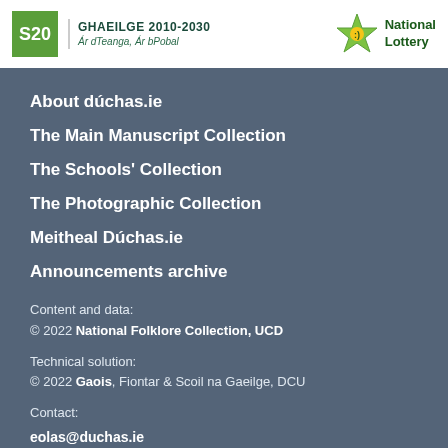[Figure (logo): Header with S20 Straitéis na Gaeilge 2010-2030 logo and National Lottery logo]
About dúchas.ie
The Main Manuscript Collection
The Schools' Collection
The Photographic Collection
Meitheal Dúchas.ie
Announcements archive
Content and data:
© 2022 National Folklore Collection, UCD
Technical solution:
© 2022 Gaois, Fiontar & Scoil na Gaeilge, DCU
Contact:
eolas@duchas.ie